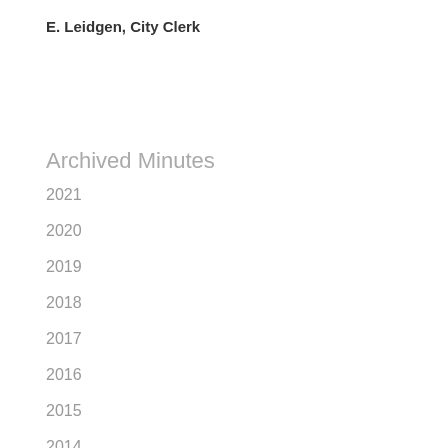E. Leidgen, City Clerk
Archived Minutes
2021
2020
2019
2018
2017
2016
2015
2014
2013
2012